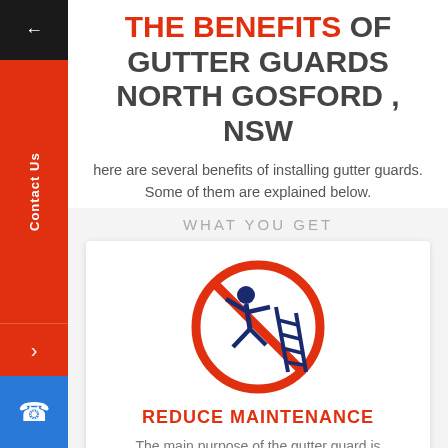THE BENEFITS OF GUTTER GUARDS NORTH GOSFORD , NSW
There are several benefits of installing gutter guards. Some of them are explained below.
WHAT YOU GET
[Figure (illustration): No-ladder/no-fall prohibition sign icon: orange circle with diagonal slash over a person falling from a ladder, in dark navy blue]
REDUCE MAINTENANCE
The main purpose of the gutter guard is